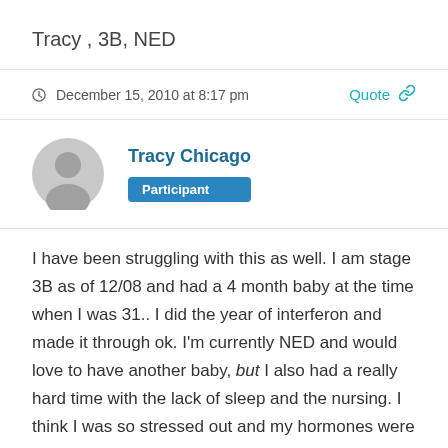Tracy , 3B, NED
December 15, 2010 at 8:17 pm
Tracy Chicago
Participant
I have been struggling with this as well. I am stage 3B as of 12/08 and had a 4 month baby at the time when I was 31.. I did the year of interferon and made it through ok. I'm currently NED and would love to have another baby, but I also had a really hard time with the lack of sleep and the nursing. I think I was so stressed out and my hormones were so out of wack that it caused my melanoma to